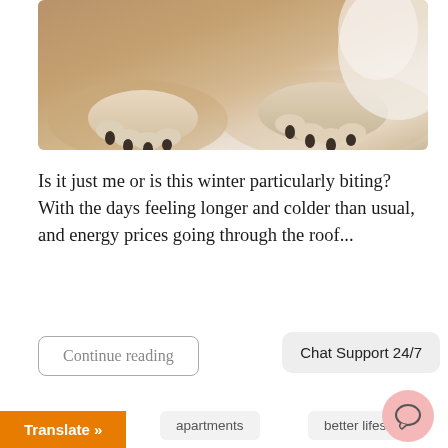[Figure (photo): Close-up photo of dog paws resting on a soft surface, light-colored dog lying down on a brownish/tan background]
Is it just me or is this winter particularly biting? With the days feeling longer and colder than usual, and energy prices going through the roof...
Continue reading
5 ways
apartments
better lifestyle
blend in
blend with the home
budget
buyers advocate
buyers agent
buying property
Chat Support 24/7
Translate »